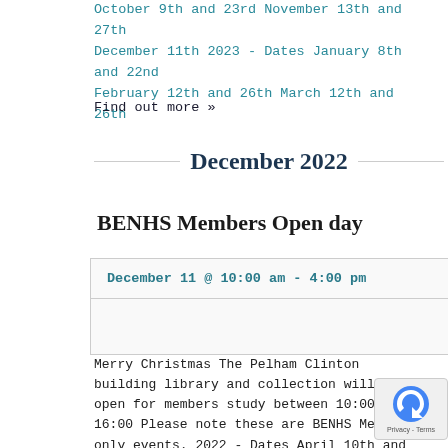October 9th and 23rd November 13th and 27th December 11th 2023 - Dates January 8th and 22nd February 12th and 26th March 12th and 26th
Find out more »
December 2022
BENHS Members Open day
| Date/Time |
| --- |
| December 11 @ 10:00 am - 4:00 pm |
|  |
Merry Christmas The Pelham Clinton building library and collection will be open for members study between 10:00 - 16:00 Please note these are BENHS Members only events. 2022 - Dates April 10th and 24th May 8th June 12th July 10th